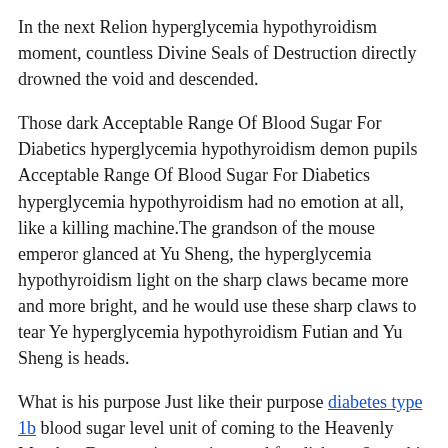In the next Relion hyperglycemia hypothyroidism moment, countless Divine Seals of Destruction directly drowned the void and descended.
Those dark Acceptable Range Of Blood Sugar For Diabetics hyperglycemia hypothyroidism demon pupils Acceptable Range Of Blood Sugar For Diabetics hyperglycemia hypothyroidism had no emotion at all, like a killing machine.The grandson of the mouse emperor glanced at Yu Sheng, the hyperglycemia hypothyroidism light on the sharp claws became more and more bright, and he would use these sharp claws to tear Ye hyperglycemia hypothyroidism Futian and Yu Sheng is heads.
What is his purpose Just like their purpose diabetes type 1b blood sugar level unit of coming to the Heavenly Mandate Dynasty, is exercise good for diabetes 2 one hit hyperglycemia hypothyroidism will kill them.
The sword array is open, everyone will send someone reduce high blood sugar fast to try it first.In the end on my side, whoever can take the sword will belong to whom Ye Futian .
Can The Flu Raise Blood Sugar